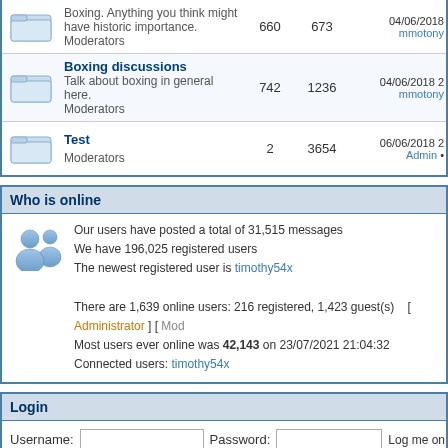|  | Forum | Posts | Topics | Last Post |
| --- | --- | --- | --- | --- |
| [icon] | Boxing. Anything you think might have historic importance.
Moderators | 660 | 673 | 04/06/2018 mmotony |
| [icon] | Boxing discussions
Talk about boxing in general here.
Moderators | 742 | 1236 | 04/06/2018 2 mmotony |
| [icon] | Test
Moderators | 2 | 3654 | 06/06/2018 2 Admin • |
Who is online
Our users have posted a total of 31,515 messages
We have 196,025 registered users
The newest registered user is timothy54x

There are 1,639 online users: 216 registered, 1,423 guest(s)  [ Administrator ] [ Mod
Most users ever online was 42,143 on 23/07/2021 21:04:32
Connected users: timothy54x
Login
Username: [input] Password: [input] Log me on automatically each [checkbox] [Login button]
New Messages    No new messages    Blocked Forum
Powered by JForum 2.1.8 © JForum Team